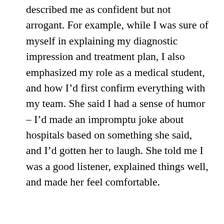described me as confident but not arrogant. For example, while I was sure of myself in explaining my diagnostic impression and treatment plan, I also emphasized my role as a medical student, and how I'd first confirm everything with my team. She said I had a sense of humor – I'd made an impromptu joke about hospitals based on something she said, and I'd gotten her to laugh. She told me I was a good listener, explained things well, and made her feel comfortable.
[Figure (screenshot): Share This modal dialog overlay showing Facebook, Twitter, and Print Friendly share buttons with a close (x) button in the top right corner and subtitle 'Share this post with your friends!']